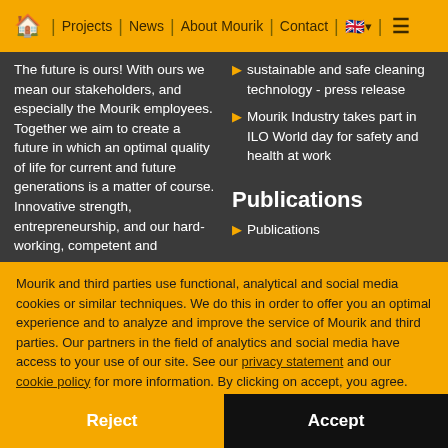🏠 | Projects | News | About Mourik | Contact | 🇬🇧 ▾ ☰
The future is ours! With ours we mean our stakeholders, and especially the Mourik employees. Together we aim to create a future in which an optimal quality of life for current and future generations is a matter of course. Innovative strength, entrepreneurship, and our hard-working, competent and
sustainable and safe cleaning technology - press release
Mourik Industry takes part in ILO World day for safety and health at work
Publications
Publications
Mourik and third parties use functional, analytical and social media cookies or similar techniques. We do this in order to offer you an optimal experience and to analyze and improve the service of Mourik and third parties. Our partners in the field of analytics and social media have access to your use of our site. See our privacy statement and our cookie policy for more information. By clicking on accept, you agree.
Reject
Accept